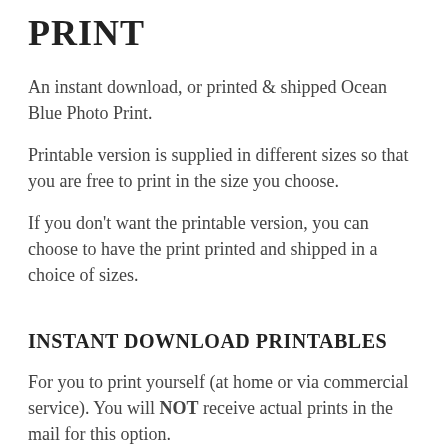PRINT
An instant download, or printed & shipped Ocean Blue Photo Print.
Printable version is supplied in different sizes so that you are free to print in the size you choose.
If you don't want the printable version, you can choose to have the print printed and shipped in a choice of sizes.
INSTANT DOWNLOAD PRINTABLES
For you to print yourself (at home or via commercial service). You will NOT receive actual prints in the mail for this option.